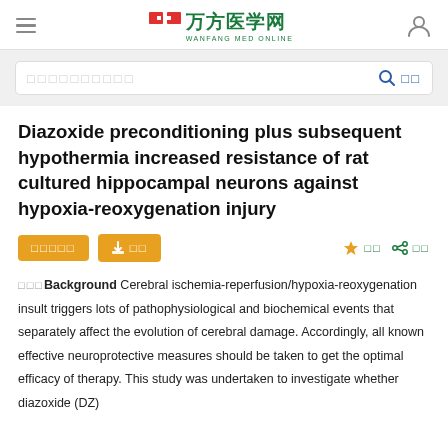万方医学网 WANFANG MED ONLINE
Diazoxide preconditioning plus subsequent hypothermia increased resistance of rat cultured hippocampal neurons against hypoxia-reoxygenation injury
摘要Background Cerebral ischemia-reperfusion/hypoxia-reoxygenation insult triggers lots of pathophysiological and biochemical events that separately affect the evolution of cerebral damage. Accordingly, all known effective neuroprotective measures should be taken to get the optimal efficacy of therapy. This study was undertaken to investigate whether diazoxide (DZ)